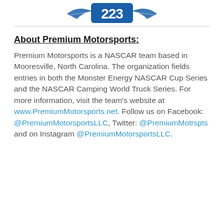[Figure (logo): Premium Motorsports logo with number 223 in blue on white background with wing graphic]
About Premium Motorsports:
Premium Motorsports is a NASCAR team based in Mooresville, North Carolina. The organization fields entries in both the Monster Energy NASCAR Cup Series and the NASCAR Camping World Truck Series. For more information, visit the team’s website at www.PremiumMotorsports.net. Follow us on Facebook: @PremiumMotorsportsLLC, Twitter: @PremiumMotrspts and on Instagram @PremiumMotorsportsLLC.